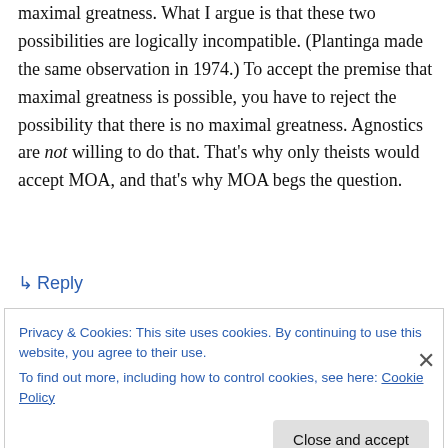maximal greatness. What I argue is that these two possibilities are logically incompatible. (Plantinga made the same observation in 1974.) To accept the premise that maximal greatness is possible, you have to reject the possibility that there is no maximal greatness. Agnostics are not willing to do that. That's why only theists would accept MOA, and that's why MOA begs the question.
↳ Reply
Privacy & Cookies: This site uses cookies. By continuing to use this website, you agree to their use.
To find out more, including how to control cookies, see here: Cookie Policy